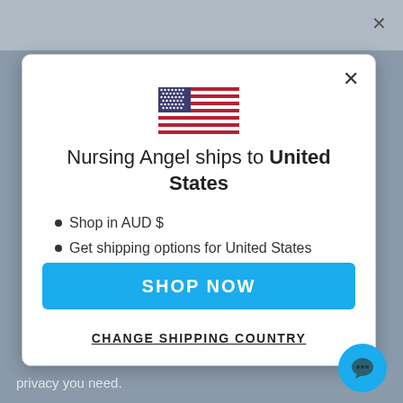[Figure (screenshot): US flag icon centered in modal dialog]
Nursing Angel ships to United States
Shop in AUD $
Get shipping options for United States
SHOP NOW
CHANGE SHIPPING COUNTRY
privacy you need.